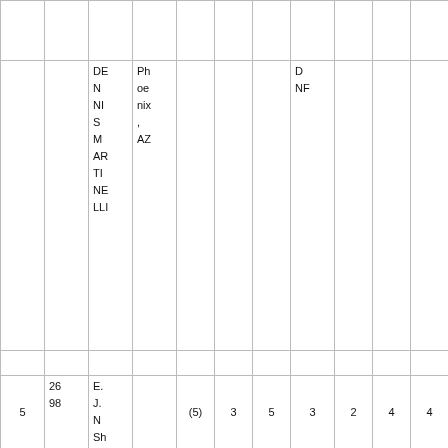|  |  |  |  |  |  |  |  |  |  |  |
|  |  | DE
N
NI
S
M
AR
TI
NE
LLI | Ph
oe
nix
,
AZ |  |  |  | D
NF |  |  |  |  |  |
|  |  |  |  |  |  |  |  |  |  |  |
| 5 | 26
98 | E.
J.
N
Sh |  | (5) | 3 | 5 | 3 | 2 | 4 | 4 | 21 |